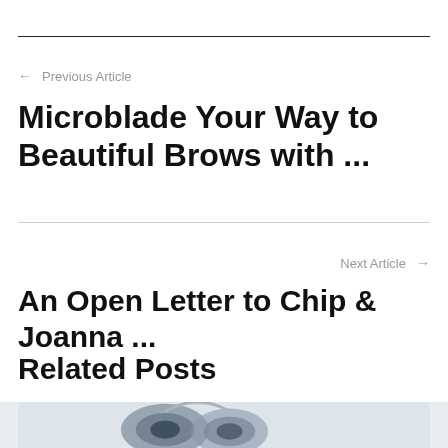← Previous Article
Microblade Your Way to Beautiful Brows with ...
Next Article →
An Open Letter to Chip & Joanna ...
Related Posts
[Figure (photo): Partial image of headphones or electronic device at bottom of page]